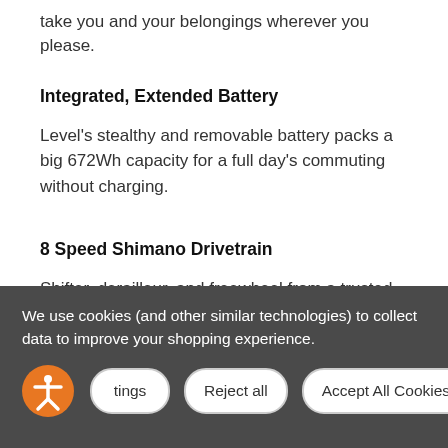take you and your belongings wherever you please.
Integrated, Extended Battery
Level's stealthy and removable battery packs a big 672Wh capacity for a full day's commuting without charging.
8 Speed Shimano Drivetrain
Shifter, derailleur, and freewheel from a trusted brand.
We use cookies (and other similar technologies) to collect data to improve your shopping experience.